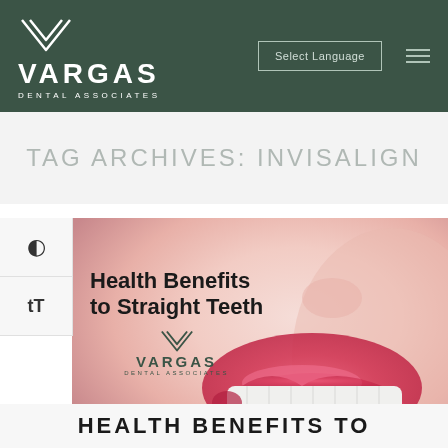[Figure (logo): Vargas Dental Associates logo with chevron/V icon in white on dark green background, with 'Select Language' button and hamburger menu]
TAG ARCHIVES: INVISALIGN
[Figure (photo): Close-up photo of a woman smiling showing straight white teeth with pink lips, overlaid with text 'Health Benefits to Straight Teeth' and Vargas Dental Associates logo]
HEALTH BENEFITS TO